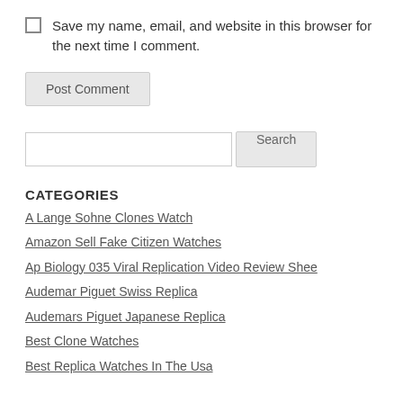Save my name, email, and website in this browser for the next time I comment.
Post Comment
Search
CATEGORIES
A Lange Sohne Clones Watch
Amazon Sell Fake Citizen Watches
Ap Biology 035 Viral Replication Video Review Shee
Audemar Piguet Swiss Replica
Audemars Piguet Japanese Replica
Best Clone Watches
Best Replica Watches In The Usa